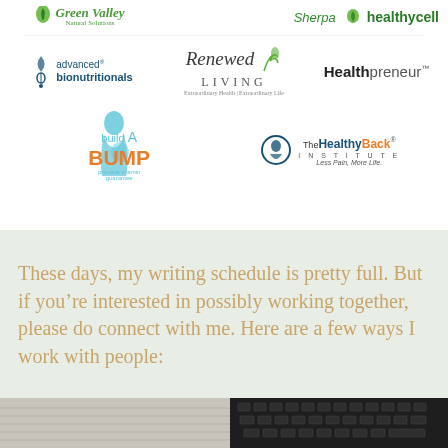[Figure (logo): Green Valley Natural Solutions logo - green italic text with leaf icon]
[Figure (logo): Sherpa and Healthycell logos side by side with leaf icon]
[Figure (logo): Advanced Bionutritionals logo with DNA helix icon]
[Figure (logo): Renewed Living logo - cursive text]
[Figure (logo): Healthpreneur logo - bold sans-serif]
[Figure (logo): Build A Bump logo with pregnant woman silhouette]
[Figure (logo): The Healthy Back Institute logo with circle icon]
These days, my writing schedule is pretty full.  But if you’re interested in possibly working together, please do connect with me.  Here are a few ways I work with people:
[Figure (photo): Partial photo of desk/keyboard at bottom of page]